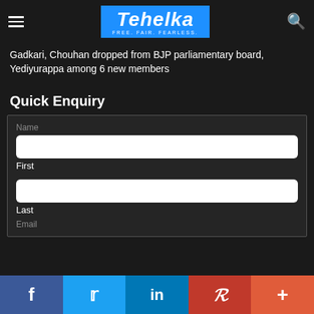Tehelka – FREE. FAIR. FEARLESS.
Gadkari, Chouhan dropped from BJP parliamentary board, Yediyurappa among 6 new members
Quick Enquiry
Name
First


Last

Email